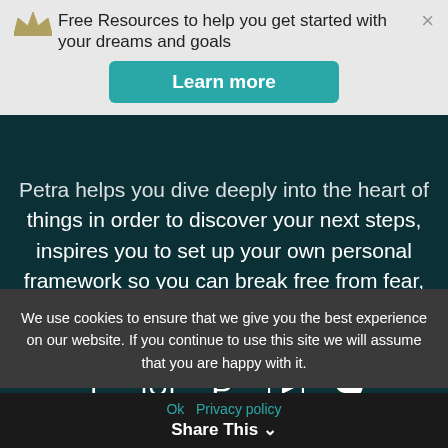Free Resources to help you get started with your dreams and goals
Learn more
Petra helps you dive deeply into the heart of things in order to discover your next steps, inspires you to set up your own personal framework so you can break free from fear, doubt and, overwhelm.
[Figure (infographic): Social media icons: Facebook, Instagram, Pinterest, YouTube, Twitter]
We use cookies to ensure that we give you the best experience on our website. If you continue to use this site we will assume that you are happy with it.
Ok   Privacy policy
Share This